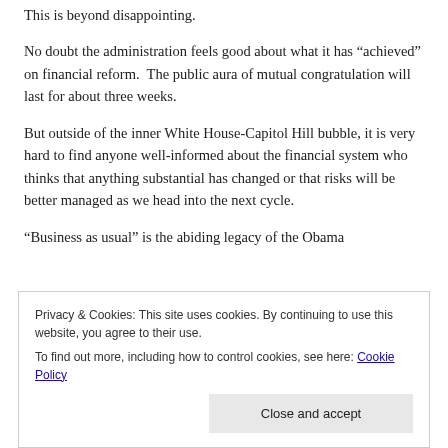This is beyond disappointing.
No doubt the administration feels good about what it has “achieved” on financial reform.  The public aura of mutual congratulation will last for about three weeks.
But outside of the inner White House-Capitol Hill bubble, it is very hard to find anyone well-informed about the financial system who thinks that anything substantial has changed or that risks will be better managed as we head into the next cycle.
“Business as usual” is the abiding legacy of the Obama
Privacy & Cookies: This site uses cookies. By continuing to use this website, you agree to their use.
To find out more, including how to control cookies, see here: Cookie Policy